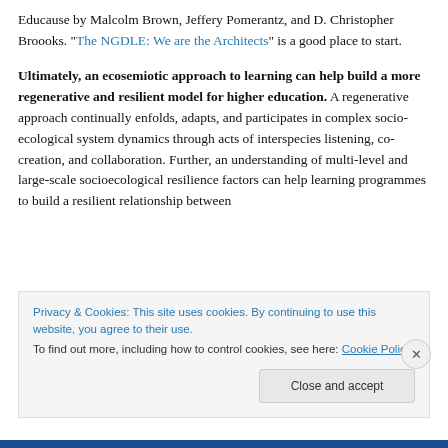Educause by Malcolm Brown, Jeffery Pomerantz, and D. Christopher Broooks. "The NGDLE: We are the Architects" is a good place to start.
Ultimately, an ecosemiotic approach to learning can help build a more regenerative and resilient model for higher education. A regenerative approach continually enfolds, adapts, and participates in complex socio-ecological system dynamics through acts of interspecies listening, co-creation, and collaboration. Further, an understanding of multi-level and large-scale socioecological resilience factors can help learning programmes to build a resilient relationship between...
Privacy & Cookies: This site uses cookies. By continuing to use this website, you agree to their use.
To find out more, including how to control cookies, see here: Cookie Policy